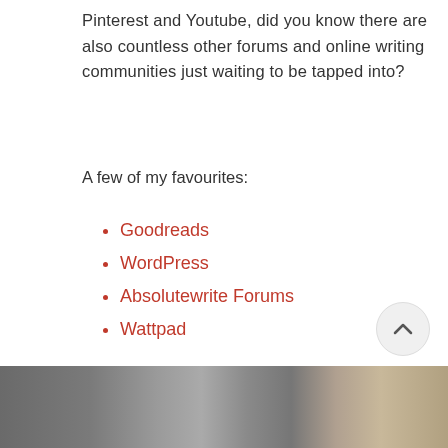Pinterest and Youtube, did you know there are also countless other forums and online writing communities just waiting to be tapped into?
A few of my favourites:
Goodreads
WordPress
Absolutewrite Forums
Wattpad
The very reason I created my blog, The Cat's Write, was because I wanted to make friends and learn more about self-publishing. Honestly, I don't know where I would be without you guys.
[Figure (photo): Partial view of a photo strip at bottom of page showing grayscale figures]